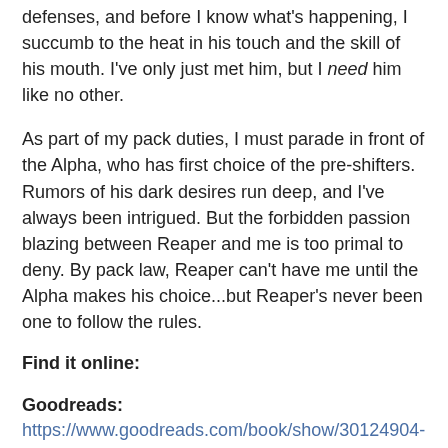defenses, and before I know what's happening, I succumb to the heat in his touch and the skill of his mouth. I've only just met him, but I need him like no other.
As part of my pack duties, I must parade in front of the Alpha, who has first choice of the pre-shifters. Rumors of his dark desires run deep, and I've always been intrigued. But the forbidden passion blazing between Reaper and me is too primal to deny. By pack law, Reaper can't have me until the Alpha makes his choice...but Reaper's never been one to follow the rules.
Find it online:
Goodreads: https://www.goodreads.com/book/show/30124904-desiring-red
Entangled Website: entangledpublishing.com/desiring-red/